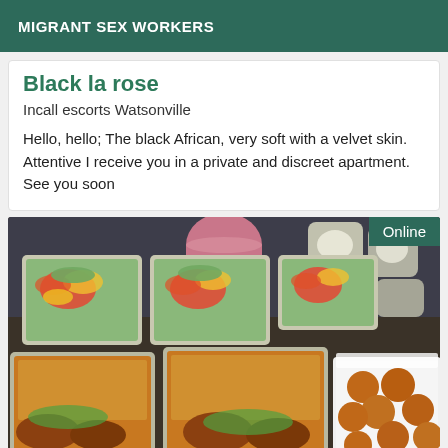MIGRANT SEX WORKERS
Black la rose
Incall escorts Watsonville
Hello, hello; The black African, very soft with a velvet skin. Attentive I receive you in a private and discreet apartment. See you soon
[Figure (photo): Photo of multiple food containers with salads and rice dishes and fried snacks, with an 'Online' badge in the top right corner.]